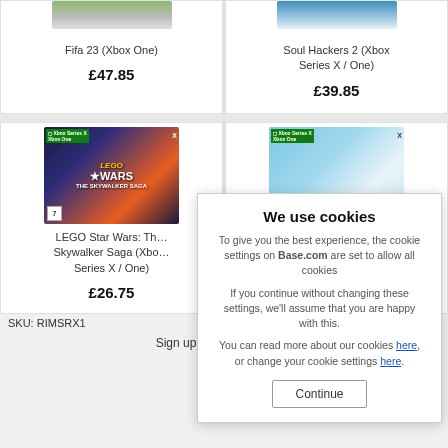[Figure (photo): Fifa 23 Xbox One game box art, partially cropped at top]
Fifa 23 (Xbox One)
£47.85
[Figure (photo): Soul Hackers 2 Xbox Series X / One game box art, partially cropped at top]
Soul Hackers 2 (Xbox Series X / One)
£39.85
[Figure (photo): LEGO Star Wars: The Skywalker Saga Xbox Series X / One game box art]
LEGO Star Wars: The Skywalker Saga (Xbox Series X / One)
£26.75
[Figure (photo): Another Xbox game box art partially visible]
We use cookies
To give you the best experience, the cookie settings on Base.com are set to allow all cookies
If you continue without changing these settings, we'll assume that you are happy with this.
You can read more about our cookies here, or change your cookie settings here.
Continue
SKU: RIMSRX1
Sign up for our newsletter